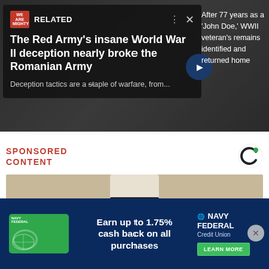[Figure (screenshot): Dark background photo of wartime soldiers/vehicles, partially visible behind overlay panels]
RELATED
The Red Army's insane World War II deception nearly broke the Romanian Army
Deception tactics are a staple of warfare, from...
After 77 years as a 'John Doe,' WWII veteran's remains identified and returned home
SPONSORED CONTENT
[Figure (photo): Close-up photo of a wrapped/bandaged object, possibly a knee or leg wrap, on a beige background]
[Figure (infographic): Navy Federal Credit Union advertisement banner: green credit card on dark blue background. Text: Earn up to 1.75% cash back on all purchases. NAVY FEDERAL Credit Union. LEARN MORE button.]